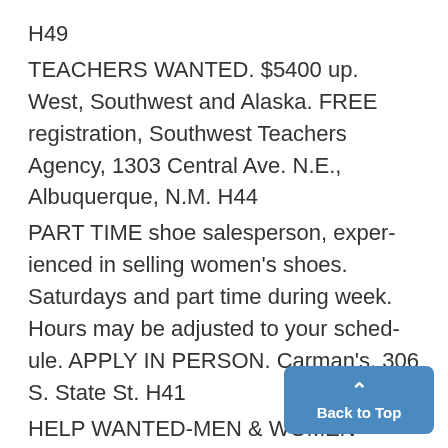H49
TEACHERS WANTED. $5400 up. West, Southwest and Alaska. FREE registration, Southwest Teachers Agency, 1303 Central Ave. N.E., Albuquerque, N.M. H44
PART TIME shoe salesperson, experienced in selling women's shoes. Saturdays and part time during week. Hours may be adjusted to your schedule. APPLY IN PERSON. Carman's, 306 S. State St. H41
HELP WANTED-MEN & WOMEN Counselors, experienced in car